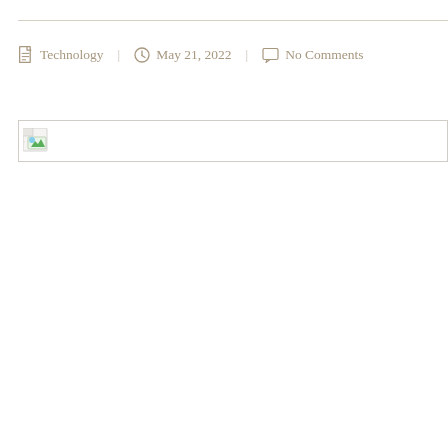Technology | May 21, 2022 | No Comments
[Figure (other): Broken image placeholder icon with torn page and green landscape image icon]